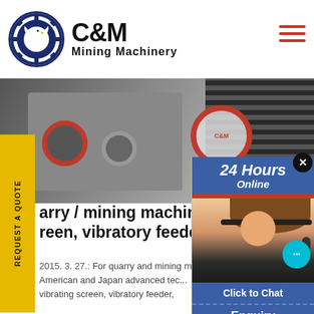[Figure (logo): C&M Mining Machinery logo with eagle gear icon and company name]
[Figure (photo): Industrial mining machinery equipment in a factory/quarry setting, grayscale photo with red wheel machinery and coiled belts]
REQUEST A QUOTE
[Figure (photo): Chat overlay popup showing 24 Hours Online with female customer service agent wearing headset, cyan chat bubble, and Click to Chat button]
arry / mining machine reen, vibratory feeder,
2015. 3. 27.: For quarry and mining m... American and Japan advanced tec... vibrating screen, vibratory feeder,